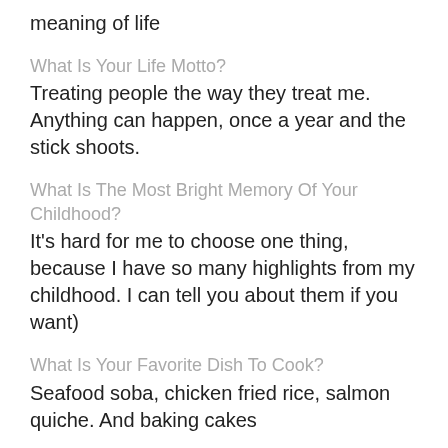meaning of life
What Is Your Life Motto?
Treating people the way they treat me. Anything can happen, once a year and the stick shoots.
What Is The Most Bright Memory Of Your Childhood?
It's hard for me to choose one thing, because I have so many highlights from my childhood. I can tell you about them if you want)
What Is Your Favorite Dish To Cook?
Seafood soba, chicken fried rice, salmon quiche. And baking cakes
Name One Thing You Would Never Refuse.
From good music